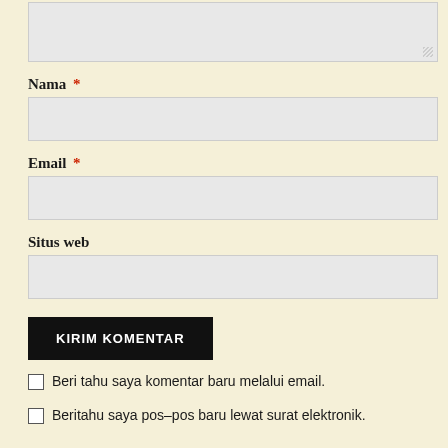[textarea - comment field]
Nama *
[input field - Nama]
Email *
[input field - Email]
Situs web
[input field - Situs web]
KIRIM KOMENTAR
Beri tahu saya komentar baru melalui email.
Beritahu saya pos-pos baru lewat surat elektronik.